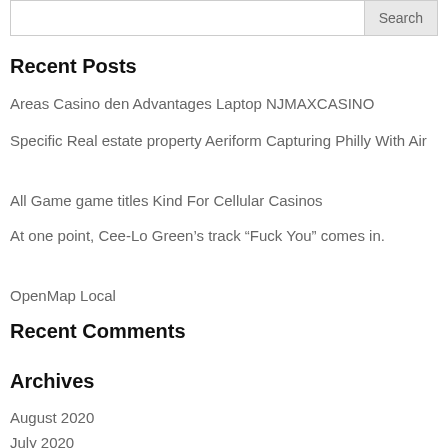Recent Posts
Areas Casino den Advantages Laptop NJMAXCASINO
Specific Real estate property Aeriform Capturing Philly With Air
All Game game titles Kind For Cellular Casinos
At one point, Cee-Lo Green’s track “Fuck You” comes in.
OpenMap Local
Recent Comments
Archives
August 2020
July 2020